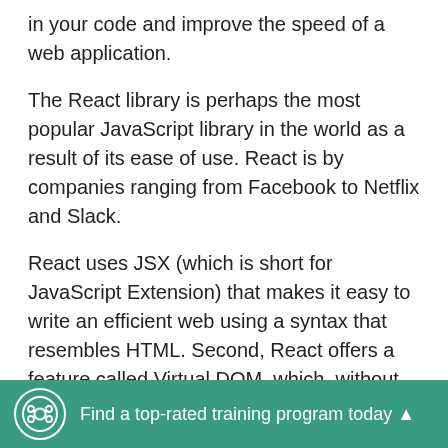in your code and improve the speed of a web application.
The React library is perhaps the most popular JavaScript library in the world as a result of its ease of use. React is by companies ranging from Facebook to Netflix and Slack.
React uses JSX (which is short for JavaScript Extension) that makes it easy to write an efficient web using a syntax that resembles HTML. Second, React offers a feature called Virtual DOM, which, without going into too much detail, makes websites load faster.
Find a top-rated training program today ▲